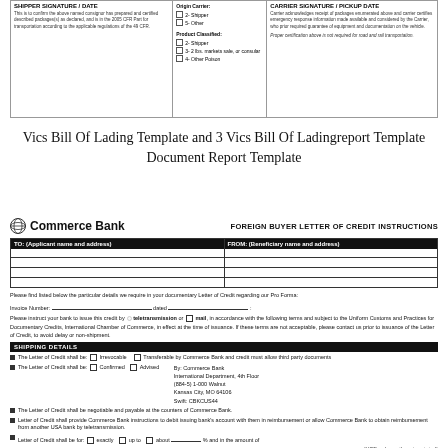[Figure (other): Top portion of a Bill of Lading form showing shipper signature/date section, origin/destination coding boxes, and carrier signature/pickup date fields]
Vics Bill Of Lading Template and 3 Vics Bill Of Ladingreport Template Document Report Template
[Figure (other): Commerce Bank Foreign Buyer Letter of Credit Instructions form with TO/FROM fields, invoice number line, shipping details section with checkboxes for irrevocable/confirmed/advised letter of credit options, Commerce Bank address, and additional bullet point instructions]